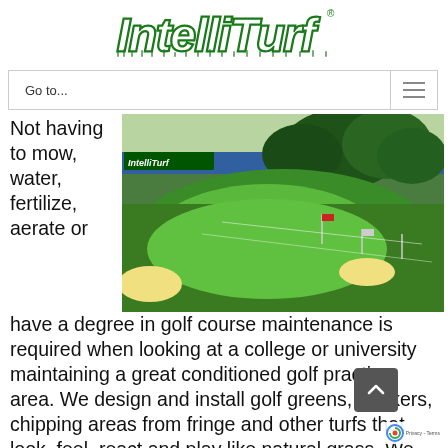[Figure (logo): IntelliTurf logo with green and white stylized text on white background]
Go to...
[Figure (photo): Artificial golf green practice area with IntelliTurf branding banner, showing lush green turf with putting flags, sand bunkers, surrounded by blue fencing and trees]
Not having to mow, water, fertilize, aerate or have a degree in golf course maintenance is required when looking at a college or university maintaining a great conditioned golf practice area.  We design and install golf greens, bunkers, chipping areas from fringe and other turfs that look, feel, react and play like natural grass.  We